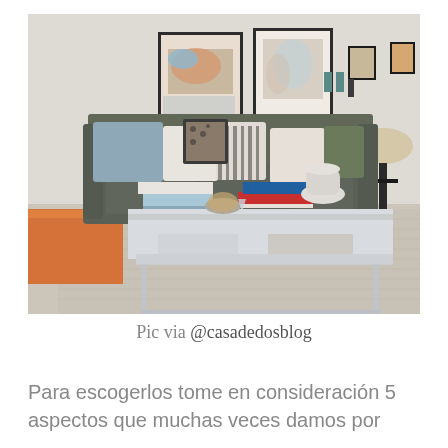[Figure (photo): Interior living room photo showing a grey sofa with decorative pillows, a white rectangular coffee table with books and a white vase on top, framed artwork on the wall, a floor lamp, and an orange bench/ottoman on the left side. The floor has a beige patterned rug.]
Pic via @casadedosblog
Para escogerlos tome en consideración 5 aspectos que muchas veces damos por